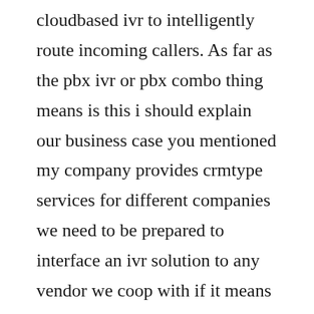cloudbased ivr to intelligently route incoming callers. As far as the pbx ivr or pbx combo thing means is this i should explain our business case you mentioned my company provides crmtype services for different companies we need to be prepared to interface an ivr solution to any vendor we coop with if it means they have the ivr and we supply the dialog and call. Twilio studio gives developers a serverless, stateful visual workflow builder. Ivr analytics and reporting api for any ivr platform. Ivr systems allow you to connect with your customers like never before. Based